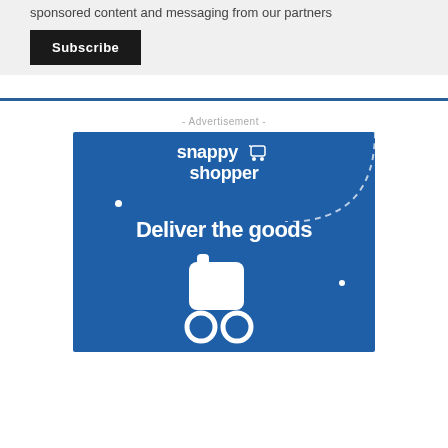sponsored content and messaging from our partners
Subscribe
- Advertisement -
[Figure (advertisement): Snappy Shopper advertisement with blue background showing 'snappy shopper' brand name with shopping cart icon, 'Deliver the goods' tagline, and a white shopping cart illustration at the bottom.]